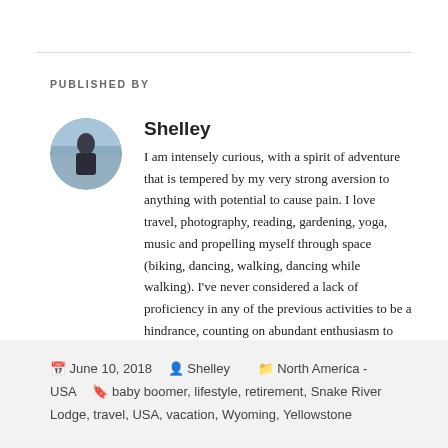PUBLISHED BY
[Figure (photo): Circular avatar photo of author Shelley, showing a person near a beach/outdoor setting]
Shelley
I am intensely curious, with a spirit of adventure that is tempered by my very strong aversion to anything with potential to cause pain. I love travel, photography, reading, gardening, yoga, music and propelling myself through space (biking, dancing, walking, dancing while walking). I've never considered a lack of proficiency in any of the previous activities to be a hindrance, counting on abundant enthusiasm to make up for my shortcomings. View all posts by Shelley →
June 10, 2018  Shelley  North America - USA  baby boomer, lifestyle, retirement, Snake River Lodge, travel, USA, vacation, Wyoming, Yellowstone